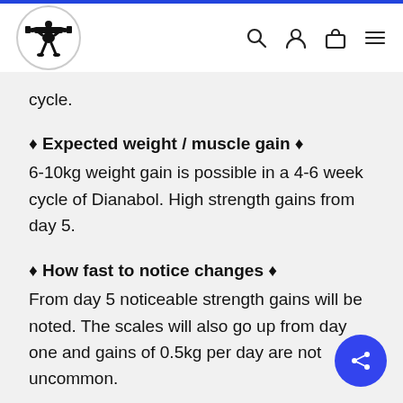Navigation bar with logo and icons
cycle.
♦ Expected weight / muscle gain ♦
6-10kg weight gain is possible in a 4-6 week cycle of Dianabol. High strength gains from day 5.
♦ How fast to notice changes ♦
From day 5 noticeable strength gains will be noted. The scales will also go up from day one and gains of 0.5kg per day are not uncommon.